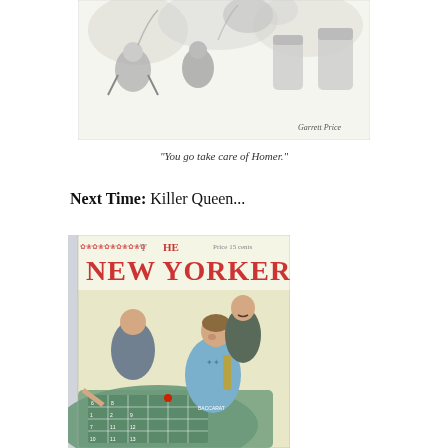[Figure (illustration): Top portion of a black and white cartoon illustration showing figures with smoke or steam, signed 'Garrett Price' in the lower right]
"You go take care of Homer."
Next Time: Killer Queen...
[Figure (illustration): Cover of The New Yorker magazine showing a woman in a blue evening gown and men at what appears to be a roulette table, with casino/gambling scene. Price 15 cents.]